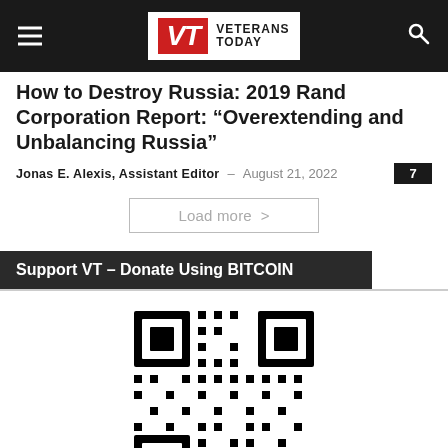Veterans Today — navigation header with logo, menu icon, search icon
How to Destroy Russia: 2019 Rand Corporation Report: “Overextending and Unbalancing Russia”
Jonas E. Alexis, Assistant Editor – August 21, 2022 [7 comments]
Load more >
Support VT – Donate Using BITCOIN
[Figure (other): Bitcoin donation QR code]
[Figure (logo): Bitcoin logo with orange circle B icon and italic bitcoin wordmark]